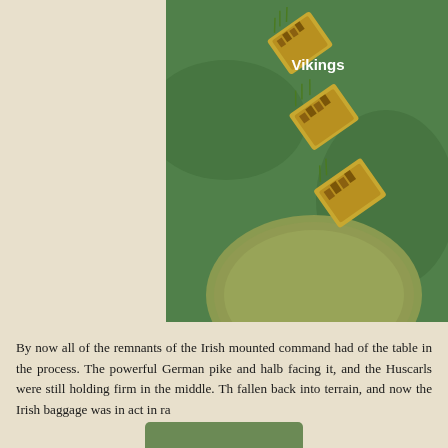[Figure (photo): Miniature wargame figurines representing Vikings on gold/tan colored unit bases, arranged diagonally on a green felt game mat. A circular green terrain piece (hill) is visible at bottom center-right. Label 'Vikings' appears in white bold text on the photo.]
By now all of the remnants of the Irish mounted command had of the table in the process. The powerful German pike and halb facing it, and the Huscarls were still holding firm in the middle. Th fallen back into terrain, and now the Irish baggage was in act in ra